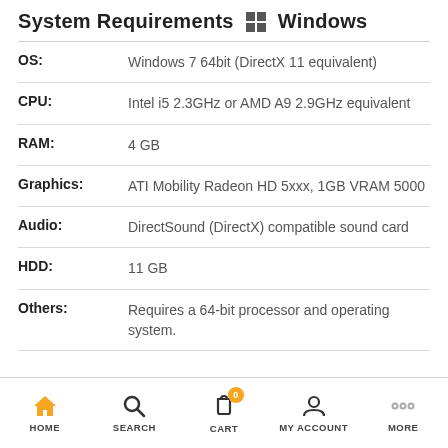System Requirements Windows
| Requirement | Value |
| --- | --- |
| OS: | Windows 7 64bit (DirectX 11 equivalent) |
| CPU: | Intel i5 2.3GHz or AMD A9 2.9GHz equivalent |
| RAM: | 4 GB |
| Graphics: | ATI Mobility Radeon HD 5xxx, 1GB VRAM 5000 |
| Audio: | DirectSound (DirectX) compatible sound card |
| HDD: | 11 GB |
| Others: | Requires a 64-bit processor and operating system. |
HOME   SEARCH   CART 0   MY ACCOUNT   MORE